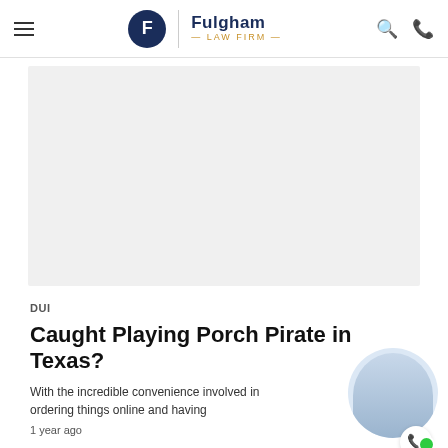Fulgham Law Firm
[Figure (photo): Large rectangular placeholder image area with light gray background, representing a blog post featured image]
DUI
Caught Playing Porch Pirate in Texas?
With the incredible convenience involved in ordering things online and having
1 year ago
[Figure (screenshot): Chat widget overlay showing 'How can I help you?' speech bubble and a lawyer avatar with green online status dot]